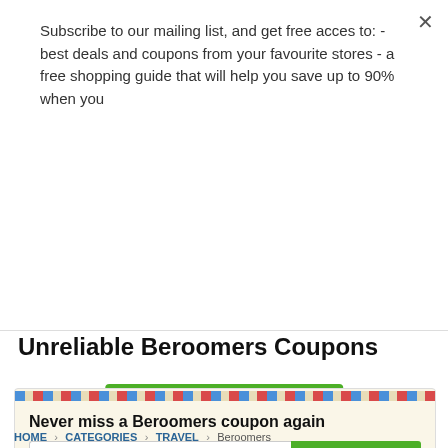Subscribe to our mailing list, and get free acces to: - best deals and coupons from your favourite stores - a free shopping guide that will help you save up to 90% when you
Are you looking for
Unreliable Beroomers Coupons
Never miss a Beroomers coupon again
Enter your email ...
SUBSCRIBE
Please enter your email address to subscribe for email updates about the most recent Beroomers coupons and deals.
HOME > CATEGORIES > TRAVEL > Beroomers